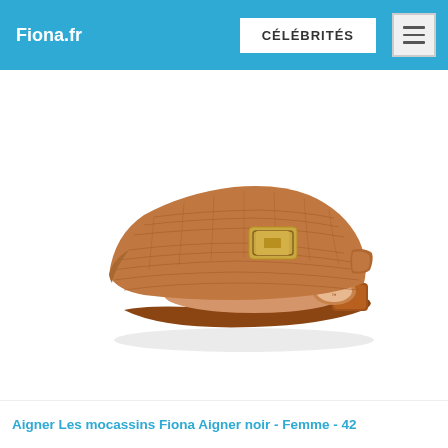Fiona.fr | CÉLÉBRITÉS
[Figure (photo): A tan/brown textured leather mule shoe with gold buckle hardware, shown in profile view against a white background. The shoe is a backless loafer style with crocodile or lizard embossed leather.]
Aigner Les mocassins Fiona Aigner noir - Femme - 42